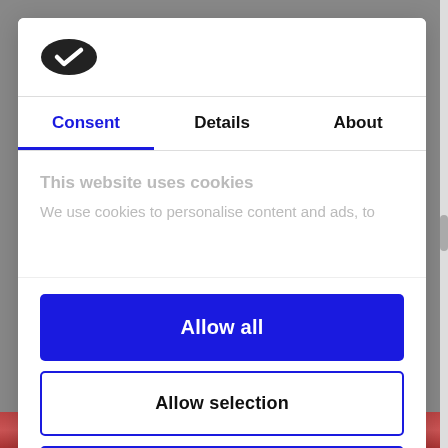[Figure (logo): Cookiebot logo - dark oval cookie icon with white checkmark]
Consent | Details | About
This website uses cookies
We use cookies to personalise content and ads, to
Allow all
Allow selection
Deny
Powered by Cookiebot by Usercentrics